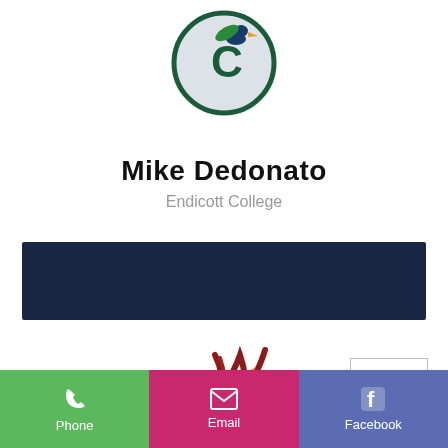[Figure (logo): Endicott College Gulls mascot logo — circular logo with a seagull and letter E in green and navy]
Mike Dedonato
Endicott College
[Figure (other): Dark navy blue rectangular banner/bar]
[Figure (logo): Elon University Phoenix athletic logo in maroon and gold]
[Figure (other): Upload/arrow icon box — square box with upward arrow icon]
[Figure (infographic): Action bar with three buttons: Phone (green), Email (pink/magenta), Facebook (purple/blue)]